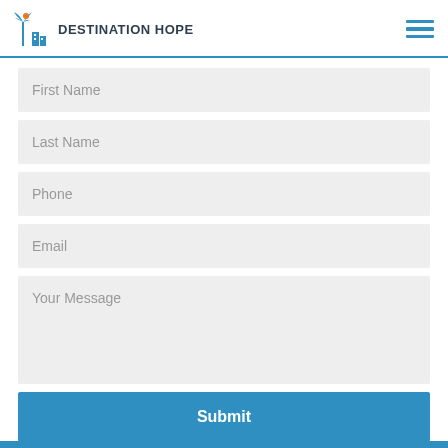DESTINATION HOPE
First Name
Last Name
Phone
Email
Your Message
Submit